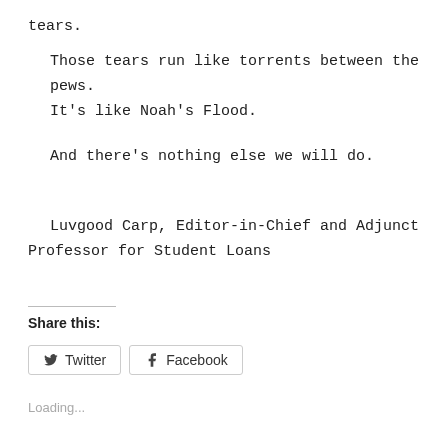tears.
Those tears run like torrents between the pews.
It's like Noah's Flood.
And there's nothing else we will do.
Luvgood Carp, Editor-in-Chief and Adjunct Professor for Student Loans
Share this:
[Figure (other): Share buttons for Twitter and Facebook]
Loading...